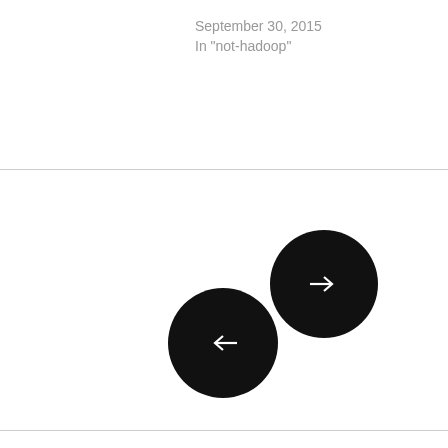September 30, 2015
In "not-hadoop"
[Figure (illustration): Two large black circular navigation buttons: one with a right-pointing arrow (next) positioned upper-right, and one with a left-pointing arrow (previous) positioned lower-left, overlapping slightly.]
One thought on “Go Go Go”
[Figure (illustration): Partial avatar/profile image at the bottom of the page.]